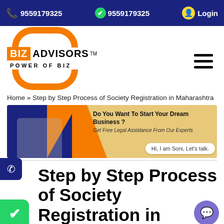9559179325  9559179325  Login
[Figure (logo): BIZ ADVISORS logo with orange arc rings and POWER OF BIZ tagline]
Home » Step by Step Process of Society Registration in Maharashtra
[Figure (infographic): Banner with text: Do You Want To Start Your Dream Business? Get Free Legal Assistance From Our Experts. Chat bubble: Hi, I am Soni, Let's talk.]
Step by Step Process of Society Registration in